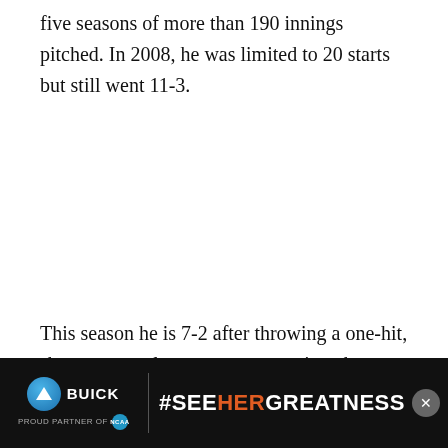five seasons of more than 190 innings pitched. In 2008, he was limited to 20 starts but still went 11-3.
This season he is 7-2 after throwing a one-hit, shutout, complete-game gem against the Arizona Diamondbacks on Tue...
[Figure (other): Buick advertisement banner: Buick logo with text PROUD PARTNER OF NCAA and hashtag #SEEHERGREATNESS on dark background with close button]